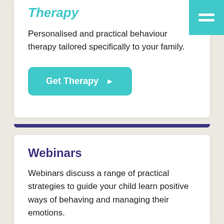Therapy
Personalised and practical behaviour therapy tailored specifically to your family.
[Figure (other): Teal rounded button with text 'Get Therapy' and a right-pointing arrow]
Webinars
Webinars discuss a range of practical strategies to guide your child learn positive ways of behaving and managing their emotions.